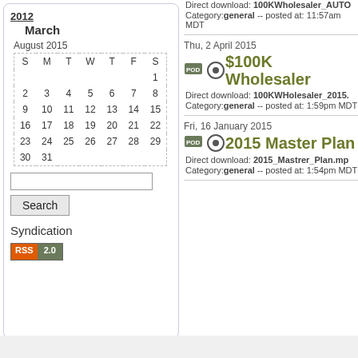2012
March
August 2015
| S | M | T | W | T | F | S |
| --- | --- | --- | --- | --- | --- | --- |
|  |  |  |  |  |  | 1 |
| 2 | 3 | 4 | 5 | 6 | 7 | 8 |
| 9 | 10 | 11 | 12 | 13 | 14 | 15 |
| 16 | 17 | 18 | 19 | 20 | 21 | 22 |
| 23 | 24 | 25 | 26 | 27 | 28 | 29 |
| 30 | 31 |  |  |  |  |  |
Search
Syndication
[Figure (other): RSS 2.0 badge]
Thu, 2 April 2015
$100K Wholesaler
Direct download: 100KWHolesaler_2015. Category:general -- posted at: 1:59pm MDT
Fri, 16 January 2015
2015 Master Plan
Direct download: 2015_Mastrer_Plan.mp Category:general -- posted at: 1:54pm MDT